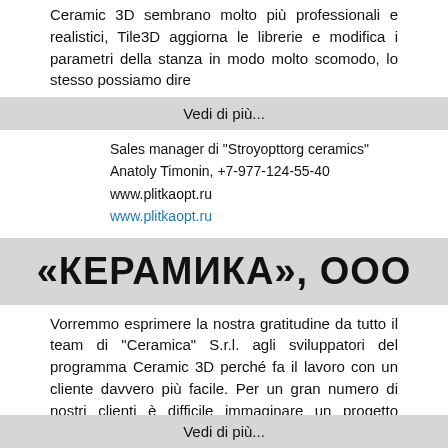Ceramic 3D sembrano molto più professionali e realistici, Tile3D aggiorna le librerie e modifica i parametri della stanza in modo molto scomodo, lo stesso possiamo dire
Vedi di più...
Sales manager di "Stroyopttorg ceramics"
Anatoly Timonin, +7-977-124-55-40
www.plitkaopt.ru
www.plitkaopt.ru
«КЕРАМИКА», ООО
Vorremmo esprimere la nostra gratitudine da tutto il team di "Ceramica" S.r.l. agli sviluppatori del programma Ceramic 3D perché fa il lavoro con un cliente davvero più facile. Per un gran numero di nostri clienti è difficile immaginare un progetto completo senza visualizzazione 3D e scegliere qualcosa. Abbiamo utilizzato il programma Domus3D che soddisfava tutti i nostri requisiti, ma dopo aver aperto il secondo negozio abbiamo deciso di provare la versione DEMO del programma Ceramic 3D che ci è stato offerto in fiera e siamo rimasti piacevolmente sorpresi dal fatto che il produttore russo è paragonabile a
Vedi di più...